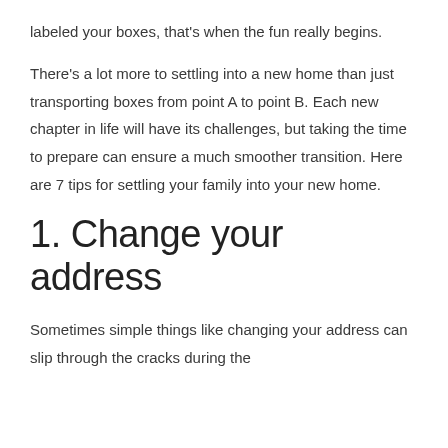labeled your boxes, that's when the fun really begins.
There's a lot more to settling into a new home than just transporting boxes from point A to point B. Each new chapter in life will have its challenges, but taking the time to prepare can ensure a much smoother transition. Here are 7 tips for settling your family into your new home.
1. Change your address
Sometimes simple things like changing your address can slip through the cracks during the